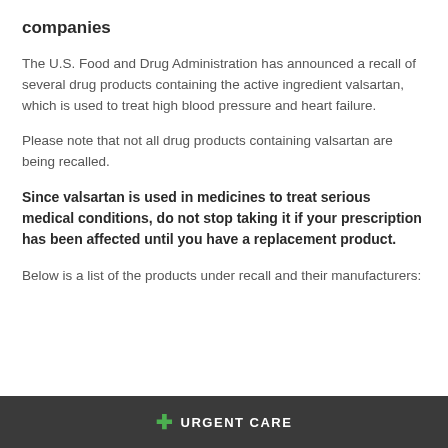companies
The U.S. Food and Drug Administration has announced a recall of several drug products containing the active ingredient valsartan, which is used to treat high blood pressure and heart failure.
Please note that not all drug products containing valsartan are being recalled.
Since valsartan is used in medicines to treat serious medical conditions, do not stop taking it if your prescription has been affected until you have a replacement product.
Below is a list of the products under recall and their manufacturers:
+ URGENT CARE